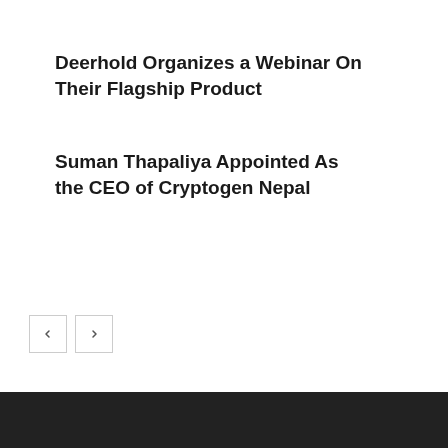Deerhold Organizes a Webinar On Their Flagship Product
Suman Thapaliya Appointed As the CEO of Cryptogen Nepal
[Figure (other): Navigation buttons with left and right arrows for pagination]